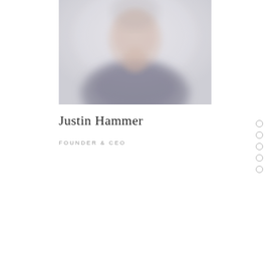[Figure (photo): Portrait photo of a person, blurred/soft-focus image showing face and upper torso in a dark top against a light background]
Justin Hammer
FOUNDER & CEO